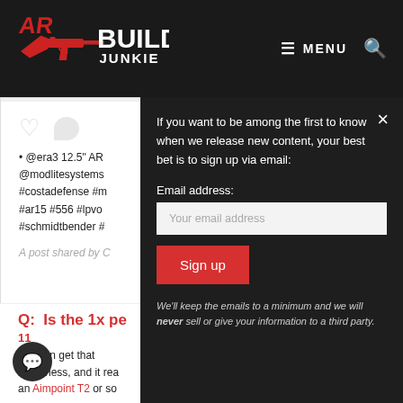AR Build Junkie — MENU
[Figure (screenshot): Partial social media post showing heart/comment icons, hashtag text including @era3 12.5 AR, @modlitesystems, #costadefense, #ar15, #556, #lpvo, #schmidtbender, and 'A post shared by C...']
If you want to be among the first to know when we release new content, your best bet is to sign up via email:
Email address:
Your email address
Sign up
We'll keep the emails to a minimum and we will never sell or give your information to a third party.
Q:  Is the 1x pe
11
you can get that brightness, and it rea an Aimpoint T2 or so